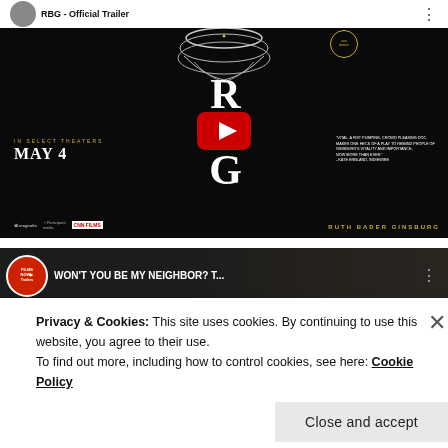[Figure (screenshot): YouTube embedded video thumbnail for 'RBG - Official Trailer' showing movie poster with lace collar, play button, and text: IN SELECT THEATERS MAY 4, RUTH BADER GINSBURG, sundance badge, studio logos]
[Figure (screenshot): YouTube embedded video thumbnail for 'WON'T YOU BE MY NEIGHBOR? T...' from FilmsNow Trailers channel, showing a person in background]
Privacy & Cookies: This site uses cookies. By continuing to use this website, you agree to their use.
To find out more, including how to control cookies, see here: Cookie Policy
Close and accept